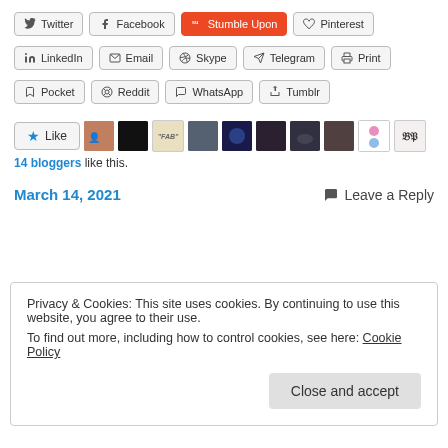[Figure (screenshot): Social sharing buttons row 1: Twitter, Facebook, Stumble Upon (orange), Pinterest]
[Figure (screenshot): Social sharing buttons row 2: LinkedIn, Email, Skype, Telegram, Print]
[Figure (screenshot): Social sharing buttons row 3: Pocket, Reddit, WhatsApp, Tumblr]
[Figure (screenshot): Like button with 14 blogger avatars]
14 bloggers like this.
March 14, 2021
Leave a Reply
Privacy & Cookies: This site uses cookies. By continuing to use this website, you agree to their use.
To find out more, including how to control cookies, see here: Cookie Policy
Close and accept